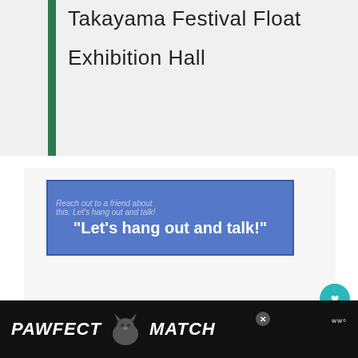Takayama Festival Float Exhibition Hall
[Figure (screenshot): Blue banner ad overlay with text: Reach out to a friend about this. Let's hang out and talk!]
3
WHAT'S NEXT → Where to Stay in Nagoya,...
[Figure (screenshot): Bottom banner advertisement: PAWFECT MATCH with cat silhouette graphic on black background]